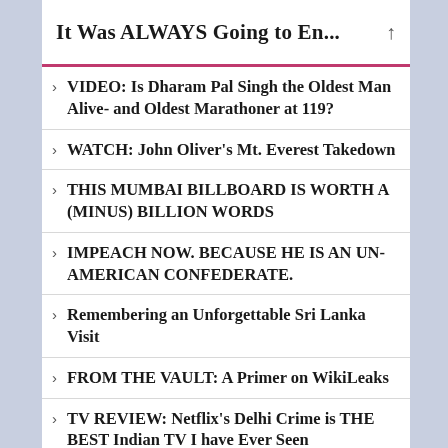It Was ALWAYS Going to En...
VIDEO: Is Dharam Pal Singh the Oldest Man Alive- and Oldest Marathoner at 119?
WATCH: John Oliver's Mt. Everest Takedown
THIS MUMBAI BILLBOARD IS WORTH A (MINUS) BILLION WORDS
IMPEACH NOW. BECAUSE HE IS AN UN-AMERICAN CONFEDERATE.
Remembering an Unforgettable Sri Lanka Visit
FROM THE VAULT: A Primer on WikiLeaks
TV REVIEW: Netflix's Delhi Crime is THE BEST Indian TV I have Ever Seen
The New Tan Commandments of Pervert Orangutan